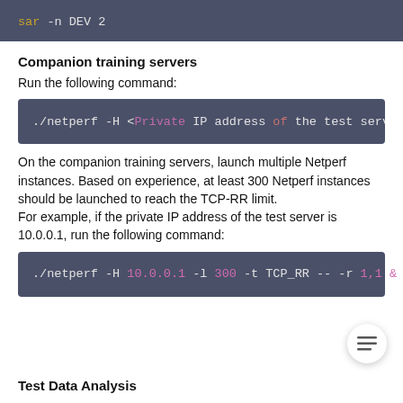[Figure (screenshot): Code block showing: sar -n DEV 2 with syntax highlighting (sar in yellow, 2 in white)]
Companion training servers
Run the following command:
[Figure (screenshot): Code block showing: ./netperf -H <Private IP address of the test server> -l3 with syntax highlighting]
On the companion training servers, launch multiple Netperf instances. Based on experience, at least 300 Netperf instances should be launched to reach the TCP-RR limit.
For example, if the private IP address of the test server is 10.0.0.1, run the following command:
[Figure (screenshot): Code block showing: ./netperf -H 10.0.0.1 -l 300 -t TCP_RR -- -r 1,1 & with syntax highlighting]
Test Data Analysis